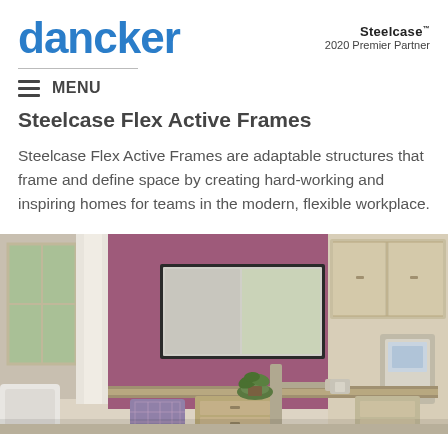dancker
Steelcase™
2020 Premier Partner
Steelcase Flex Active Frames
Steelcase Flex Active Frames are adaptable structures that frame and define space by creating hard-working and inspiring homes for teams in the modern, flexible workplace.
[Figure (photo): Interior photo of a modern workplace room featuring a purple accent wall with a mounted whiteboard/display, warm beige walls, overhead cabinets on the right, a desk area with chairs, a small plant, and medical/office equipment.]